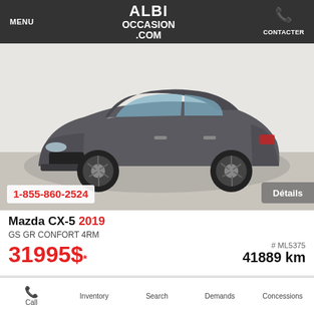MENU | ALBI OCCASION .COM | CONTACTER
[Figure (photo): Gray Mazda CX-5 2019 SUV parked in a dealership showroom, three-quarter front view. Phone number 1-855-860-2524 overlaid bottom-left, Détails button bottom-right.]
Mazda CX-5 2019 GS GR CONFORT 4RM
31995$* # ML5375 41889 km
ALBI Occasion Mascouche
Call | Inventory | Search | Demands | Concessions